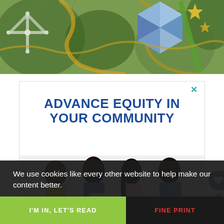[Figure (photo): Top portion of a Christmas/holiday photo showing ornaments — a silvery snowflake decoration, a geometric blue faceted ornament, gold decorations, and green pine branches against a green/gold background.]
[Figure (photo): Advertisement banner with white background. Shows bold blue text 'ADVANCE EQUITY IN YOUR COMMUNITY' and a photo of four smiling Black adults seated together, with a 'United Way' logo visible. A teal X close button appears in the upper right. A circular blue heart/save button with count '39' appears on the right edge.]
We use cookies like every other website to help make our content better.
I'M IN, LET'S READ
FINE PRINT